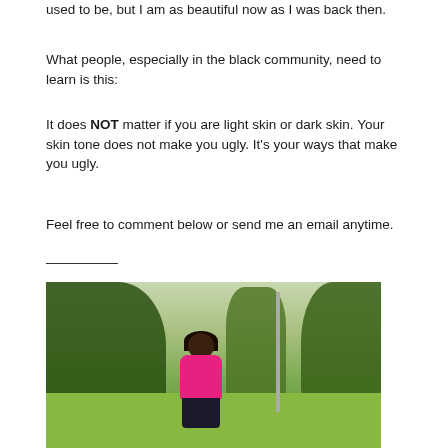used to be, but I am as beautiful now as I was back then.
What people, especially in the black community, need to learn is this:
It does NOT matter if you are light skin or dark skin.  Your skin tone does not make you ugly.  It’s your ways that make you ugly.
Feel free to comment below or send me an email anytime.
[Figure (photo): A woman in a pink top sitting outdoors in a park setting with trees and green grass in the background.]